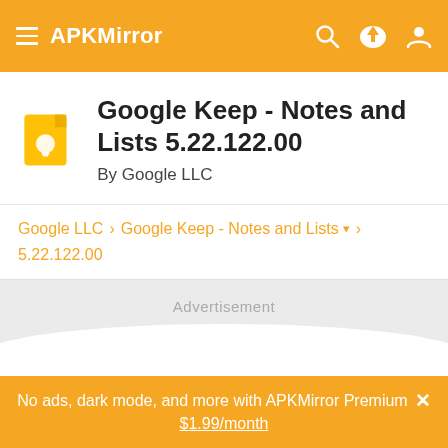APKMirror
Google Keep - Notes and Lists 5.22.122.00
By Google LLC
Google LLC > Google Keep - Notes and Lists > 5.22.122.00
Advertisement
No ads, dark mode, and more with APKMirror Premium ✕
$1.99/month